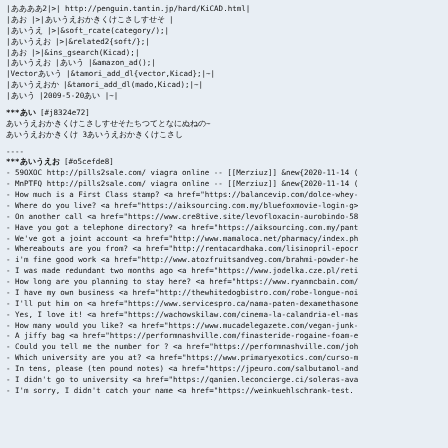|ああああ2|>| http://penguin.tantin.jp/hard/KiCAD.html|
|あお |>|あいうえおかきくけこさしすせそ |
|あいうえ |>|&soft_rcate(category/);|
|あいうえお |>|&related2{soft/};|
|あお |>|&ins_gsearch(Kicad);|
|あいうえお |あいう |&amazon_ad();|
|Vectorあいう |&tamori_add_dl{vector,Kicad};|~|
|あいうえおか |&tamori_add_dl(mado,Kicad);|~|
|あいう |2009-5-20あい |~|
***あい  [#j8324e72]
あいうえおかきくけこさしすせそたちつてとなにぬねの~
あいうえおかきくけ 3あいうえおかきくけこさし
----
***あいうえお  [#o5cefde8]
- 59OXOC http://pills2sale.com/ viagra online -- [[Merziuz]] &new{2020-11-14 (
- MnPTFQ http://pills2sale.com/ viagra online -- [[Merziuz]] &new{2020-11-14 (
- How much is a First Class stamp? <a href="https://balancevip.com/dolce-whey-
- Where do you live? <a href="https://aiksourcing.com.my/bluefoxmovie-login-g>
- On another call <a href="https://www.cre8tive.site/levofloxacin-aurobindo-58
- Have you got a telephone directory? <a href="https://aiksourcing.com.my/pant
- We've got a joint account <a href="http://www.mamaloca.net/pharmacy/index.ph
- Whereabouts are you from? <a href="http://rentacardhaka.com/lisinopril-epocr
- i'm fine good work <a href="http://www.atozfruitsandveg.com/brahmi-powder-he
- I was made redundant two months ago <a href="https://www.jodelka.cze.pl/reti
- How long are you planning to stay here? <a href="https://www.ryanmcbain.com/
- I have my own business <a href="http://thewhitedogbistro.com/robe-longue-noi
- I'll put him on <a href="https://www.servicespro.ca/nama-paten-dexamethasone
- Yes, I love it! <a href="https://wachowskilaw.com/cinema-la-calandria-el-mas
- How many would you like? <a href="https://www.mucadelegazete.com/vegan-junk-
- A jiffy bag <a href="https://performnashville.com/finasteride-rogaine-foam-e
- Could you tell me the number for ? <a href="https://performnashville.com/joh
- Which university are you at? <a href="https://www.primaryexotics.com/curso-m
- In tens, please (ten pound notes) <a href="https://jpeuro.com/salbutamol-and
- I didn't go to university <a href="https://qanien.leconcierge.ci/soleras-ava
- I'm sorry, I didn't catch your name <a href="https://weinkuehlschrank-test.